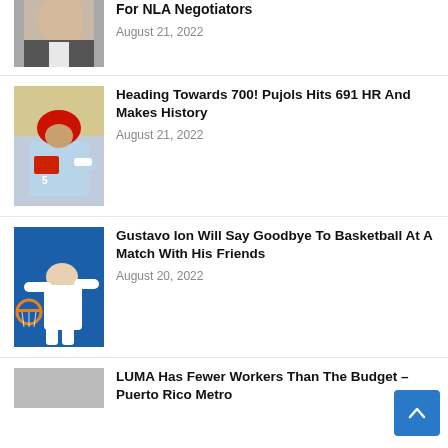[Figure (photo): Man in suit waving hand, partially cropped at top]
For NLA Negotiators
August 21, 2022
[Figure (photo): Albert Pujols in St. Louis Cardinals uniform with red helmet]
Heading Towards 700! Pujols Hits 691 HR And Makes History
August 21, 2022
[Figure (photo): Basketball player dunking near hoop on blue background]
Gustavo Ion Will Say Goodbye To Basketball At A Match With His Friends
August 20, 2022
LUMA Has Fewer Workers Than The Budget – Puerto Rico Metro